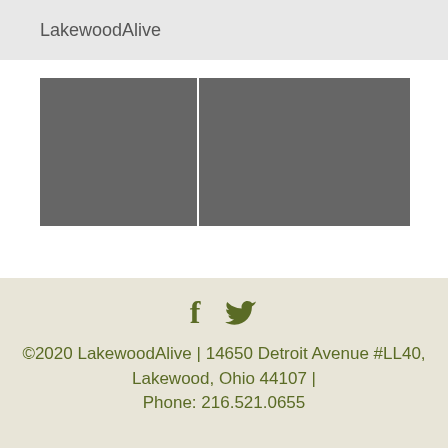LakewoodAlive
[Figure (photo): Two placeholder image blocks side by side, both filled with medium grey color]
[Figure (screenshot): Scroll-to-top button with upward caret arrow on grey background]
©2020 LakewoodAlive | 14650 Detroit Avenue #LL40, Lakewood, Ohio 44107 | Phone: ...